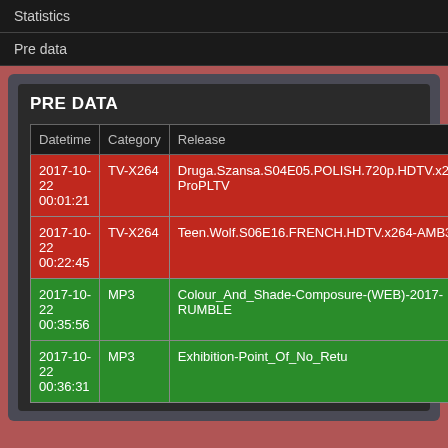Statistics
Pre data
PRE DATA
| Datetime | Category | Release |
| --- | --- | --- |
| 2017-10-22 00:01:21 | TV-X264 | Druga.Szansa.S04E05.POLISH.720p.HDTV.x264-ProPLTV |
| 2017-10-22 00:22:45 | TV-X264 | Teen.Wolf.S06E16.FRENCH.HDTV.x264-AMB3R |
| 2017-10-22 00:35:56 | MP3 | Colour_And_Shade-Composure-(WEB)-2017-RUMBLE |
| 2017-10-22 00:36:31 | MP3 | Exhibition-Point_Of_No_Retu |